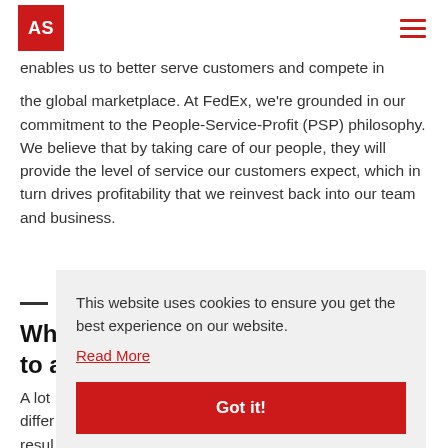AS
enables us to better serve customers and compete in the global marketplace. At FedEx, we're grounded in our commitment to the People-Service-Profit (PSP) philosophy. We believe that by taking care of our people, they will provide the level of service our customers expect, which in turn drives profitability that we reinvest back into our team and business.
Wh... to a...
A lot... differ... resul... things are more black and white, having cultural
This website uses cookies to ensure you get the best experience on our website.
Read More
Got it!